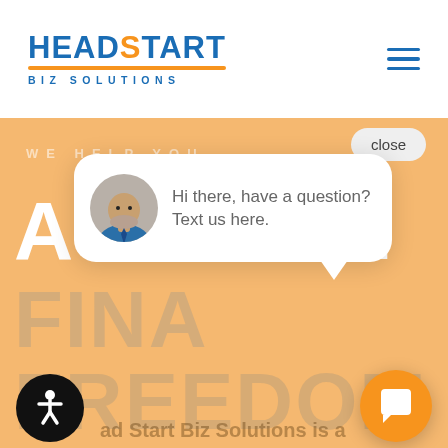[Figure (logo): HeadStart Biz Solutions logo — blue and orange text with orange underline bar]
[Figure (infographic): Hamburger menu icon (three blue horizontal lines)]
WE HELP YOU
ACHIEVE
FINANCIAL
FREEDOM
Head Start Biz Solutions is a
[Figure (screenshot): Chat popup with avatar photo of a man in a suit, showing message: Hi there, have a question? Text us here.]
close
[Figure (infographic): Accessibility icon button — black circle with white universal accessibility symbol]
[Figure (infographic): Orange chat bubble icon button in bottom right corner]